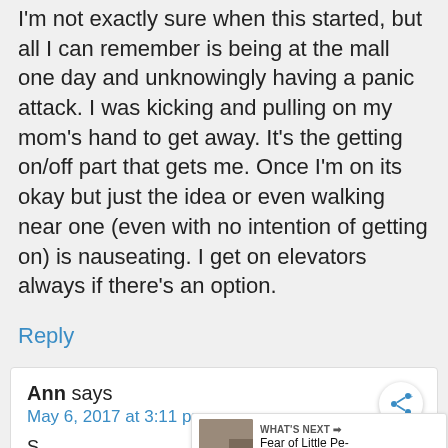I'm not exactly sure when this started, but all I can remember is being at the mall one day and unknowingly having a panic attack. I was kicking and pulling on my mom's hand to get away. It's the getting on/off part that gets me. Once I'm on its okay but just the idea or even walking near one (even with no intention of getting on) is nauseating. I get on elevators always if there's an option.
Reply
Ann says
May 6, 2017 at 3:11 pm
WHAT'S NEXT → Fear of Little Pe- Phobia -...